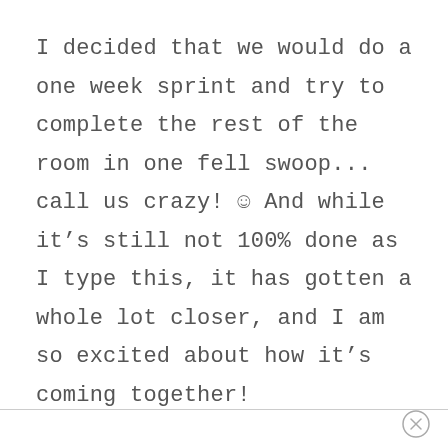I decided that we would do a one week sprint and try to complete the rest of the room in one fell swoop... call us crazy! ☺ And while it's still not 100% done as I type this, it has gotten a whole lot closer, and I am so excited about how it's coming together!